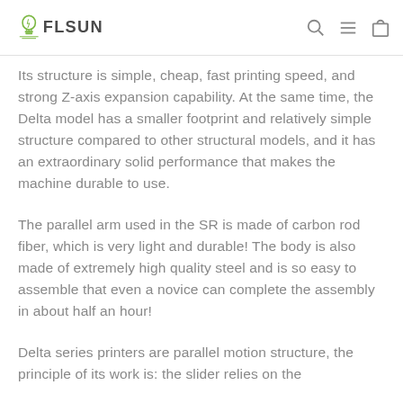FLSUN
Its structure is simple, cheap, fast printing speed, and strong Z-axis expansion capability. At the same time, the Delta model has a smaller footprint and relatively simple structure compared to other structural models, and it has an extraordinary solid performance that makes the machine durable to use.
The parallel arm used in the SR is made of carbon rod fiber, which is very light and durable! The body is also made of extremely high quality steel and is so easy to assemble that even a novice can complete the assembly in about half an hour!
Delta series printers are parallel motion structure, the principle of its work is: the slider relies on the